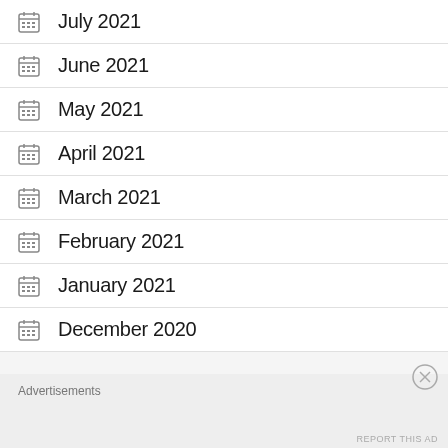July 2021
June 2021
May 2021
April 2021
March 2021
February 2021
January 2021
December 2020
Advertisements